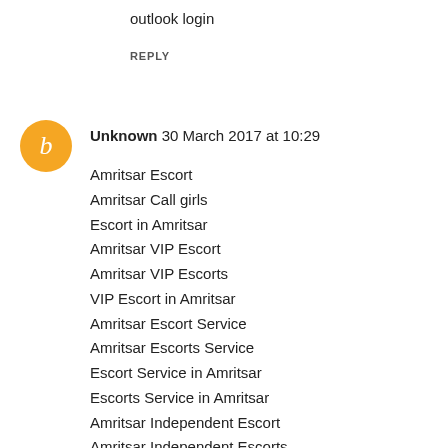outlook login
REPLY
Unknown  30 March 2017 at 10:29
Amritsar Escort
Amritsar Call girls
Escort in Amritsar
Amritsar VIP Escort
Amritsar VIP Escorts
VIP Escort in Amritsar
Amritsar Escort Service
Amritsar Escorts Service
Escort Service in Amritsar
Escorts Service in Amritsar
Amritsar Independent Escort
Amritsar Independent Escorts
Independent Escort in Amritsar
Independent Escorts in Amritsar
Amritsar Call girls Service
Call girls service in Amritsar